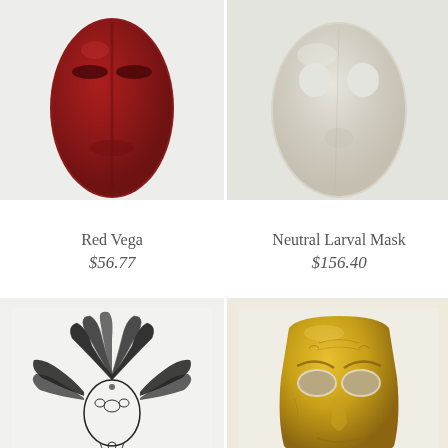[Figure (photo): Red Vega mask — a deep crimson/dark red theatrical face mask with closed lips and narrow eye slits, oval shape, smooth surface with light reflections]
[Figure (photo): Neutral Larval Mask — a plain off-white/cream colored commedia dell'arte larval mask with round eye holes and subtle nose, simple smooth surface]
Red Vega
$56.77
Neutral Larval Mask
$156.40
[Figure (illustration): Ornate black and white illustration of a decorative theatrical headdress/mask with elaborate feathers, scrollwork, and detailed pen-and-ink style design — Venetian style]
[Figure (photo): Gold ancient Greek/Roman style theatrical mask with exaggerated facial features, anger or tragedy expression, oval eye holes, textured golden surface]